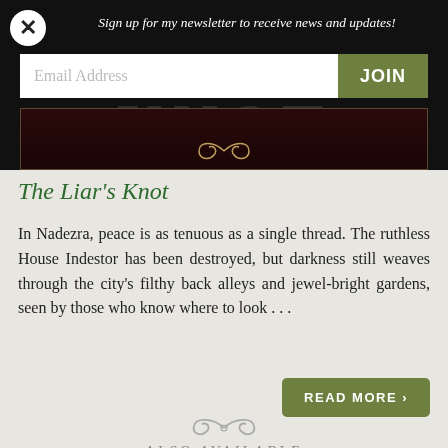[Figure (screenshot): Top black banner with book cover background showing faint 'KNOT' text, close button (X), newsletter signup text, email input field, and JOIN button]
Sign up for my newsletter to receive news and updates!
The Liar's Knot
In Nadezra, peace is as tenuous as a single thread. The ruthless House Indestor has been destroyed, but darkness still weaves through the city's filthy back alleys and jewel-bright gardens, seen by those who know where to look . . .
READ MORE >
ALSO AVAILABLE